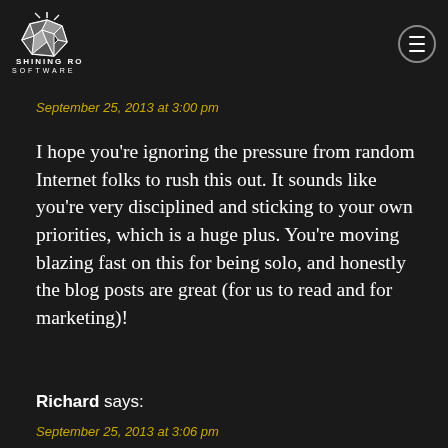Shining Rock Software
September 25, 2013 at 3:00 pm
I hope you're ignoring the pressure from random Internet folks to rush this out. It sounds like you're very disciplined and sticking to your own priorities, which is a huge plus. You're moving blazing fast on this for being solo, and honestly the blog posts are great (for us to read and for marketing)!
Richard says:
September 25, 2013 at 3:06 pm